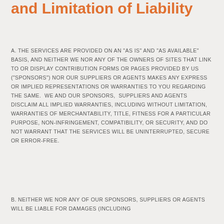and Limitation of Liability
A. THE SERVICES ARE PROVIDED ON AN "AS IS" AND "AS AVAILABLE" BASIS, AND NEITHER WE NOR ANY OF THE OWNERS OF SITES THAT LINK TO OR DISPLAY CONTRIBUTION FORMS OR PAGES PROVIDED BY US ("SPONSORS") NOR OUR SUPPLIERS OR AGENTS MAKES ANY EXPRESS OR IMPLIED REPRESENTATIONS OR WARRANTIES TO YOU REGARDING THE SAME.  WE AND OUR SPONSORS,  SUPPLIERS AND AGENTS DISCLAIM ALL IMPLIED WARRANTIES, INCLUDING WITHOUT LIMITATION, WARRANTIES OF MERCHANTABILITY, TITLE, FITNESS FOR A PARTICULAR PURPOSE, NON-INFRINGEMENT, COMPATIBILITY, OR SECURITY, AND DO NOT WARRANT THAT THE SERVICES WILL BE UNINTERRUPTED, SECURE OR ERROR-FREE.
B. NEITHER WE NOR ANY OF OUR SPONSORS, SUPPLIERS OR AGENTS WILL BE LIABLE FOR DAMAGES (INCLUDING